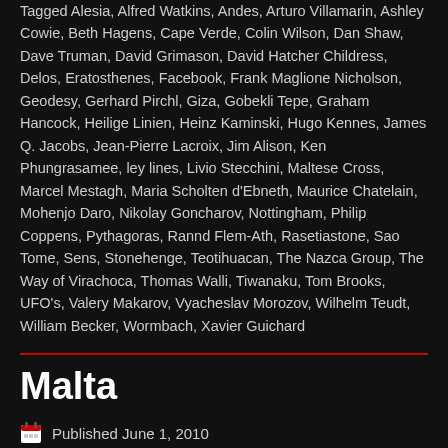Tagged Alesia, Alfred Watkins, Andes, Arturo Villamarin, Ashley Cowie, Beth Hagens, Cape Verde, Colin Wilson, Dan Shaw, Dave Truman, David Grimason, David Hatcher Childress, Delos, Eratosthenes, Facebook, Frank Maglione Nicholson, Geodesy, Gerhard Pirchl, Giza, Gobekli Tepe, Graham Hancock, Heilige Linien, Heinz Kaminski, Hugo Kennes, James Q. Jacobs, Jean-Pierre Lacroix, Jim Alison, Ken Phungrasamee, ley lines, Livio Stecchini, Maltese Cross, Marcel Mestagh, Maria Scholten d'Ebneth, Maurice Chatelain, Mohenjo Daro, Nikolay Goncharov, Nottingham, Philip Coppens, Pythagoras, Rannd Flem-Ath, Rasetiastone, Sao Tome, Sens, Stonehenge, Teotihuacan, The Nazca Group, The Way of Virachoca, Thomas Walli, Tiwanaku, Tom Brooks, UFO's, Valery Makarov, Vyacheslav Morozov, Wilhelm Teudt, William Becker, Wormbach, Xavier Guichard
Malta
Published June 1, 2010
Malta is a small densely populated archipelago, strategically situated in the Central Mediterranean between Sicily and Tunisia. There is a claim that early Maltese were Phoenicians who came from Lebanon around 3000 BC(i). However, they do not appear to have been the first, as temple building on the islands began centuries earlier and before that, there is evidence to show a Neanderthal presence there (See below). It was not until the 1st...